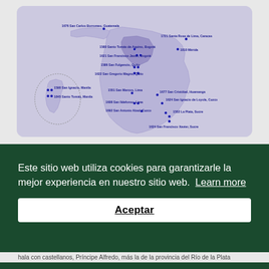[Figure (map): Historical map of Latin America and Philippines showing university founding dates and locations, with blue dot markers and labels such as: 1676 San Carlos Borromeo Guatemala, 1721 Santa Rosa de Lima Caracas, 1580 Santo Tomás de Aquino Bogotá, 1810 Mérida, 1621 San Francisco Javier Bogotá, 1586 San Fulgencio Quito, 1622 San Gregorio Magno Quito, 1590 San Ignacio Manila, 1845 Santo Tomás Manila, 1551 San Marcos Lima, 1677 San Cristóbal Huamanga, 1608 San Ildefonso Lima, 1624 San Ignacio de Loyola Cuzco, 1692 San Antonio Abad Cuzco, 1552 La Plata Sucre, 1624 San Francisco Xavier Sucre]
Este sitio web utiliza cookies para garantizarle la mejor experiencia en nuestro sitio web.  Learn more
Aceptar
hala con castellanos, Príncipe Alfredo, más la de la provincia del Río de la Plata